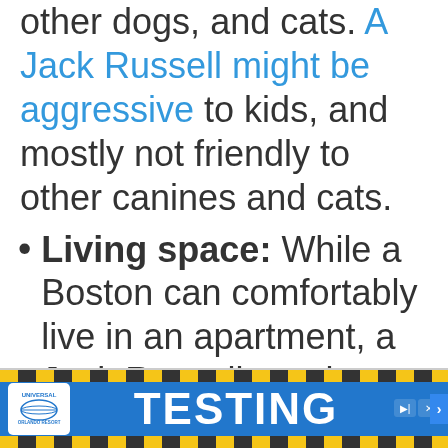other dogs, and cats. A Jack Russell might be aggressive to kids, and mostly not friendly to other canines and cats.
Living space: While a Boston can comfortably live in an apartment, a Jack Russell requires more space.
[Figure (other): Advertisement banner for Universal Orlando Resort with 'TESTING' text in white on blue background, yellow and black diagonal stripe borders]